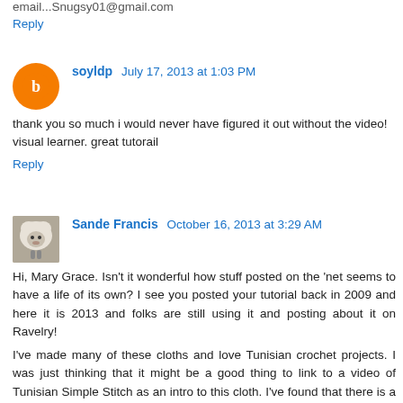email...Snugsy01@gmail.com
Reply
soyldp  July 17, 2013 at 1:03 PM
thank you so much i would never have figured it out without the video! visual learner. great tutorail
Reply
Sande Francis  October 16, 2013 at 3:29 AM
Hi, Mary Grace. Isn't it wonderful how stuff posted on the 'net seems to have a life of its own? I see you posted your tutorial back in 2009 and here it is 2013 and folks are still using it and posting about it on Ravelry!
I've made many of these cloths and love Tunisian crochet projects. I was just thinking that it might be a good thing to link to a video of Tunisian Simple Stitch as an intro to this cloth. I've found that there is a huge difference in the way TKS and TSS cloths feel. I used the TKS to make some of